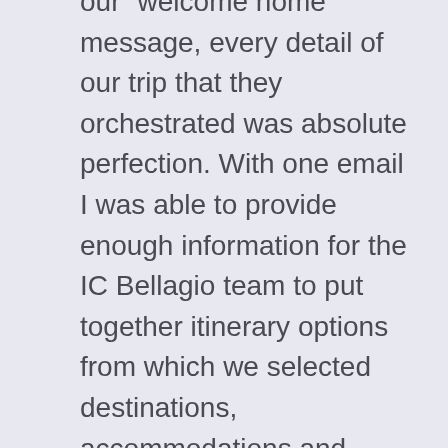our “welcome home” message, every detail of our trip that they orchestrated was absolute perfection. With one email I was able to provide enough information for the IC Bellagio team to put together itinerary options from which we selected destinations, accommodations and activities that best met our budget, time frame and interests.

It quickly became clear we were working with people who know how to truly listen and who are dedicated to far exceeding expectations. They did more than “wow” us! They